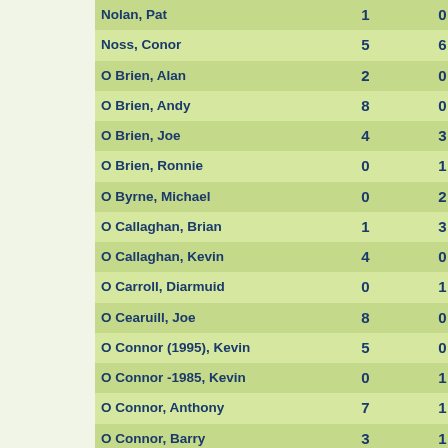| Name | Col1 | Col2 |
| --- | --- | --- |
| Nolan, Pat | 1 | 0 |
| Noss, Conor | 5 | 6 |
| O Brien, Alan | 2 | 0 |
| O Brien, Andy | 8 | 0 |
| O Brien, Joe | 4 | 3 |
| O Brien, Ronnie | 0 | 1 |
| O Byrne, Michael | 0 | 2 |
| O Callaghan, Brian | 1 | 3 |
| O Callaghan, Kevin | 4 | 0 |
| O Carroll, Diarmuid | 0 | 1 |
| O Cearuill, Joe | 8 | 0 |
| O Connor (1995), Kevin | 5 | 0 |
| O Connor -1985, Kevin | 0 | 1 |
| O Connor, Anthony | 7 | 1 |
| O Connor, Barry | 3 | 1 |
| O Connor, Derek | 5 | 0 |
| O Connor, Kevin | 4 | 2 |
| O Connor, Mark | 0 | 1 |
| O Connor, Michael | 1 | 0 |
| O Connor, Michael | 0 | 1 |
| O Connor, Shane | 1 | 0 |
| O Connor, Thomas | 3 | 1 |
| O Dea, Darren | 9 | 0 |